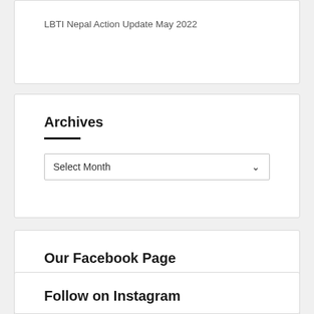LBTI Nepal Action Update May 2022
Archives
Select Month
Our Facebook Page
Follow on Instagram